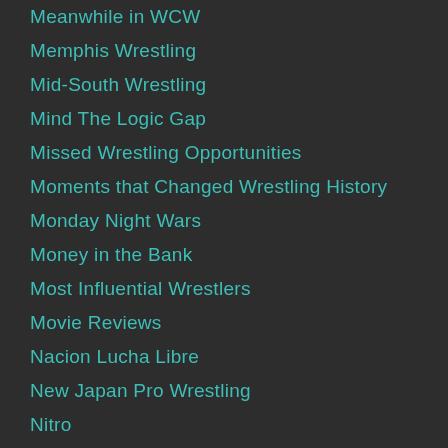Meanwhile in WCW
Memphis Wrestling
Mid-South Wrestling
Mind The Logic Gap
Missed Wrestling Opportunities
Moments that Changed Wrestling History
Monday Night Wars
Money in the Bank
Most Influential Wrestlers
Movie Reviews
Nacion Lucha Libre
New Japan Pro Wrestling
Nitro
NOAH
Not the Slammys
NWA
NXT
Ohio Valley Wrestling